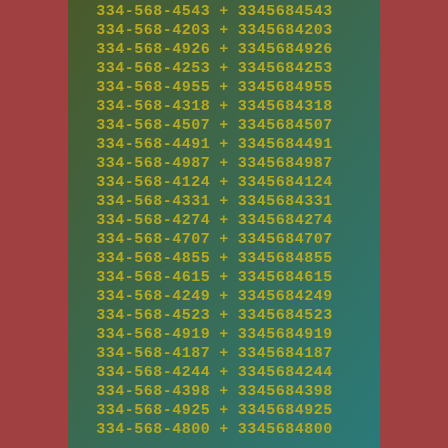| Phone | + | Number |
| --- | --- | --- |
| 334-568-4543 | + | 3345684543 |
| 334-568-4203 | + | 3345684203 |
| 334-568-4926 | + | 3345684926 |
| 334-568-4253 | + | 3345684253 |
| 334-568-4955 | + | 3345684955 |
| 334-568-4318 | + | 3345684318 |
| 334-568-4507 | + | 3345684507 |
| 334-568-4491 | + | 3345684491 |
| 334-568-4987 | + | 3345684987 |
| 334-568-4124 | + | 3345684124 |
| 334-568-4331 | + | 3345684331 |
| 334-568-4274 | + | 3345684274 |
| 334-568-4707 | + | 3345684707 |
| 334-568-4855 | + | 3345684855 |
| 334-568-4615 | + | 3345684615 |
| 334-568-4249 | + | 3345684249 |
| 334-568-4523 | + | 3345684523 |
| 334-568-4919 | + | 3345684919 |
| 334-568-4187 | + | 3345684187 |
| 334-568-4244 | + | 3345684244 |
| 334-568-4398 | + | 3345684398 |
| 334-568-4925 | + | 3345684925 |
| 334-568-4800 | + | 3345684800 |